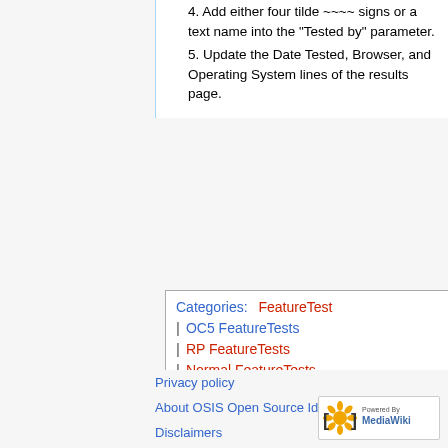4. Add either four tilde ~~~~ signs or a text name into the "Tested by" parameter.
5. Update the Date Tested, Browser, and Operating System lines of the results page.
Categories: FeatureTest | OC5 FeatureTests | RP FeatureTests | Normal FeatureTests
Privacy policy
About OSIS Open Source Identity Systems
Disclaimers